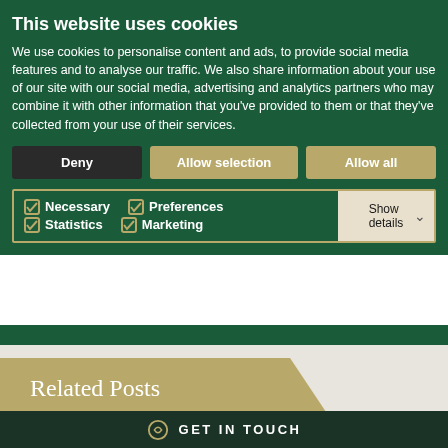This website uses cookies
We use cookies to personalise content and ads, to provide social media features and to analyse our traffic. We also share information about your use of our site with our social media, advertising and analytics partners who may combine it with other information that you've provided to them or that they've collected from your use of their services.
Deny | Allow selection | Allow all
☑ Necessary  ☑ Preferences  ☑ Statistics  ☑ Marketing  Show details
Related Posts
Share  f  𝕏  in
GET IN TOUCH